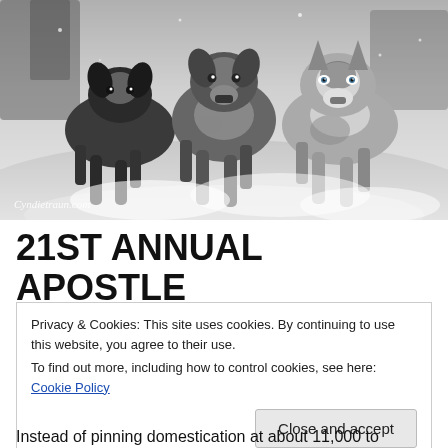[Figure (photo): Black and white photograph of three sled dogs running toward the camera through snow. The center dog appears to be an Australian Shepherd mix, flanked by two Siberian Huskies.]
Cyndietraun.com
21ST ANNUAL APOSTLE
Privacy & Cookies: This site uses cookies. By continuing to use this website, you agree to their use.
To find out more, including how to control cookies, see here: Cookie Policy
[Close and accept]
Instead of pinning domestication at about 11,000 to